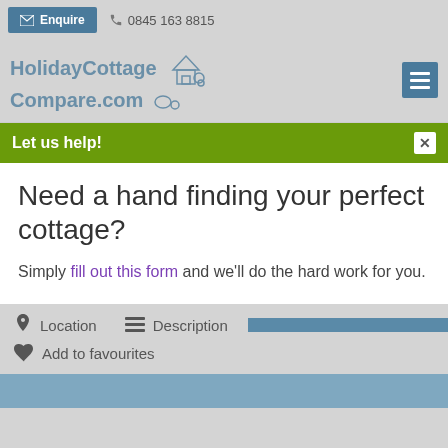Enquire  0845 163 8815
[Figure (logo): HolidayCottageCompare.com logo with cottage icon and hamburger menu button]
Let us help!
Need a hand finding your perfect cottage?
Simply fill out this form and we'll do the hard work for you.
Location   Description
Add to favourites